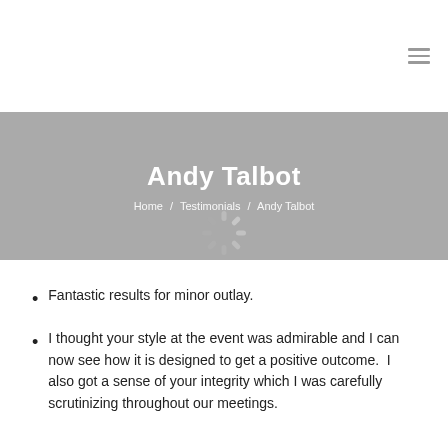[Figure (other): Hamburger menu icon (three horizontal lines) in top-right corner of navigation bar]
Andy Talbot
Home  /  Testimonials  /  Andy Talbot
[Figure (other): Loading spinner graphic overlaid on hero banner]
Fantastic results for minor outlay.
I thought your style at the event was admirable and I can now see how it is designed to get a positive outcome.  I also got a sense of your integrity which I was carefully scrutinizing throughout our meetings.